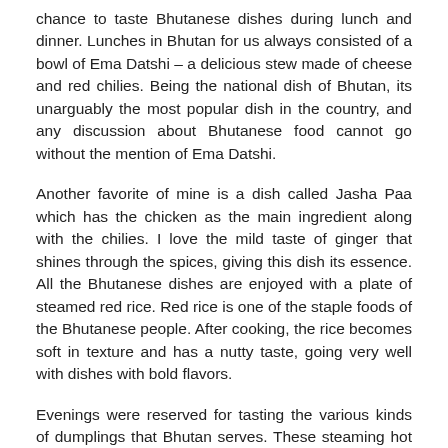chance to taste Bhutanese dishes during lunch and dinner. Lunches in Bhutan for us always consisted of a bowl of Ema Datshi – a delicious stew made of cheese and red chilies. Being the national dish of Bhutan, its unarguably the most popular dish in the country, and any discussion about Bhutanese food cannot go without the mention of Ema Datshi.
Another favorite of mine is a dish called Jasha Paa which has the chicken as the main ingredient along with the chilies. I love the mild taste of ginger that shines through the spices, giving this dish its essence. All the Bhutanese dishes are enjoyed with a plate of steamed red rice. Red rice is one of the staple foods of the Bhutanese people. After cooking, the rice becomes soft in texture and has a nutty taste, going very well with dishes with bold flavors.
Evenings were reserved for tasting the various kinds of dumplings that Bhutan serves. These steaming hot dumplings have a variety of fillings – including minced beef,